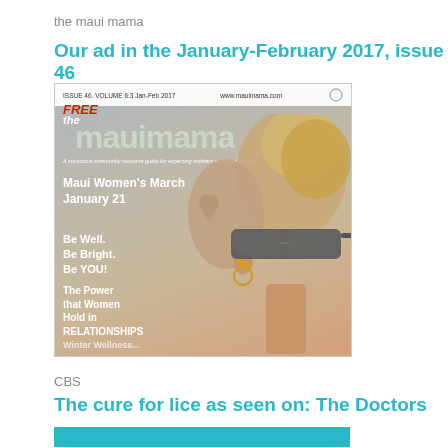the maui mama
Our ad in the January-February 2017, issue 46
[Figure (photo): Magazine cover of 'the mauimama', Issue 46, Volume 6:3 Jan-Feb 2017, www.mauimama.com. Cover shows a woman with a shaved side hairstyle and sunglasses, viewed from behind/side. Text on cover: FREE, Maui Women's March January 21, Be Well. Be Bright. Be YOU!, The Power that Women Hold in RELATIONSHIPS]
CBS
The cure for lice as seen on: The Doctors